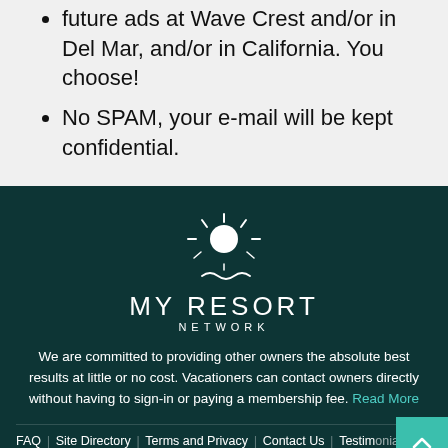future ads at Wave Crest and/or in Del Mar, and/or in California. You choose!
No SPAM, your e-mail will be kept confidential.
[Figure (logo): My Resort Network logo: sun icon above text 'MY RESORT NETWORK' with wave decoration]
We are committed to providing other owners the absolute best results at little or no cost. Vacationers can contact owners directly without having to sign-in or paying a membership fee. Read More
FAQ | Site Directory | Terms and Privacy | Contact Us | Testimonials | Last Minute Travel